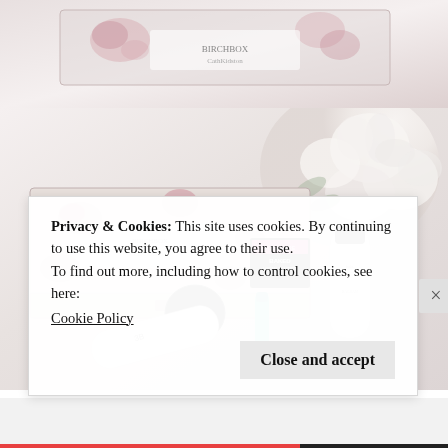[Figure (photo): Partial view of a floral-patterned Birchbox subscription box at the top of the page, cropped]
[Figure (photo): Flat-lay photo of a Birchbox subscription box with floral packaging alongside beauty products including a hair spray bottle, baked eyeshadow, mascara, lip gloss, BB cream, and white flowers in the background]
Privacy & Cookies: This site uses cookies. By continuing to use this website, you agree to their use.
To find out more, including how to control cookies, see here:
Cookie Policy
Close and accept